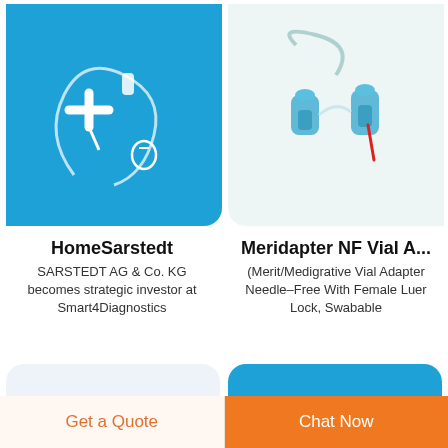[Figure (photo): Medical IV infusion set / butterfly needle on blue background]
[Figure (photo): Needle-free vial adapter with red needle indicator on light background]
HomeSarstedt
SARSTEDT AG & Co. KG becomes strategic investor at Smart4Diagnostics
Meridapter NF Vial A...
(Merit/Medigrative Vial Adapter Needle–Free With Female Luer Lock, Swabable
[Figure (photo): Blue plastic luer lock connectors/caps on light background]
[Figure (photo): Clear IV tubing coiled set with connectors on blue background]
Get a Quote
Chat Now